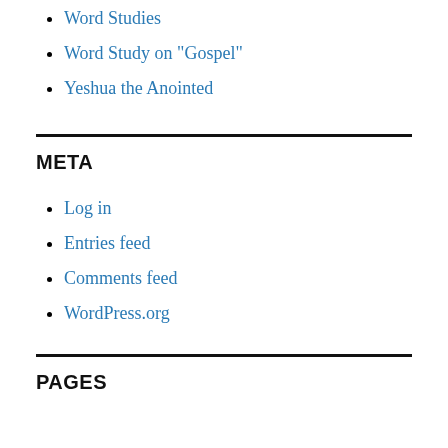Word Studies
Word Study on "Gospel"
Yeshua the Anointed
META
Log in
Entries feed
Comments feed
WordPress.org
PAGES